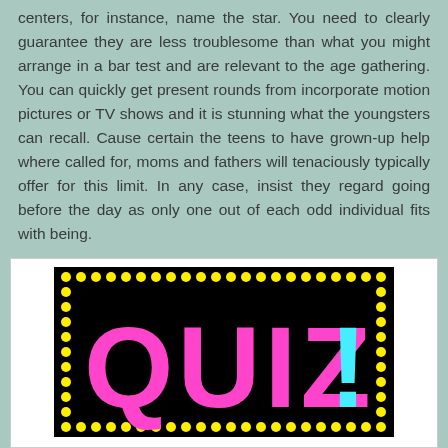centers, for instance, name the star. You need to clearly guarantee they are less troublesome than what you might arrange in a bar test and are relevant to the age gathering. You can quickly get present rounds from incorporate motion pictures or TV shows and it is stunning what the youngsters can recall. Cause certain the teens to have grown-up help where called for, moms and fathers will tenaciously typically offer for this limit. In any case, insist they regard going before the day as only one out of each odd individual fits with being.
[Figure (illustration): Black rectangular image with yellow dot border and large pink 'QUIZ' text with cyan exclamation mark]